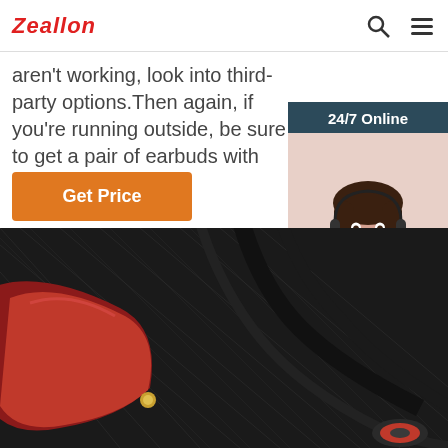Zeallon
aren't working, look into third-party options.Then again, if you're running outside, be sure to get a pair of earbuds with safety ...
Get Price
[Figure (photo): Customer support representative with headset, smiling, with '24/7 Online' header, 'Click here for free chat!' text, and 'QUOTATION' orange button]
[Figure (photo): Dark background product photo with red leather item and black cables/earbuds on textured surface]